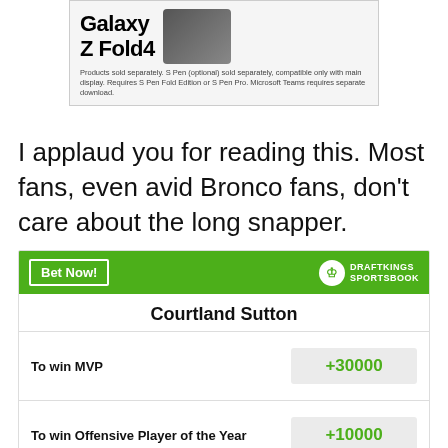[Figure (advertisement): Samsung Galaxy Z Fold4 advertisement with product image and text: 'Products sold separately. S Pen (optional) sold separately, compatible only with main display. Requires S Pen Fold Edition or S Pen Pro. Microsoft Teams requires separate download.']
I applaud you for reading this. Most fans, even avid Bronco fans, don't care about the long snapper.
[Figure (infographic): DraftKings Sportsbook betting widget for Courtland Sutton showing: To win MVP +30000, To win Offensive Player of the Year +10000, Most Receiving Yards in League +4500]